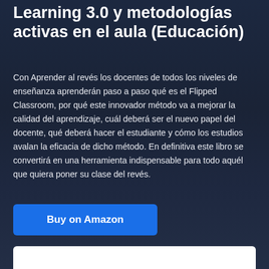Learning 3.0 y metodologías activas en el aula (Educación)
Con Aprender al revés los docentes de todos los niveles de enseñanza aprenderán paso a paso qué es el Flipped Classroom, por qué este innovador método va a mejorar la calidad del aprendizaje, cuál deberá ser el nuevo papel del docente, qué deberá hacer el estudiante y cómo los estudios avalan la eficacia de dicho método. En definitiva este libro se convertirá en una herramienta indispensable para todo aquél que quiera poner su clase del revés.
[Figure (other): Blue 'Buy on Amazon' button]
[Figure (other): White box at bottom of page (partially visible)]